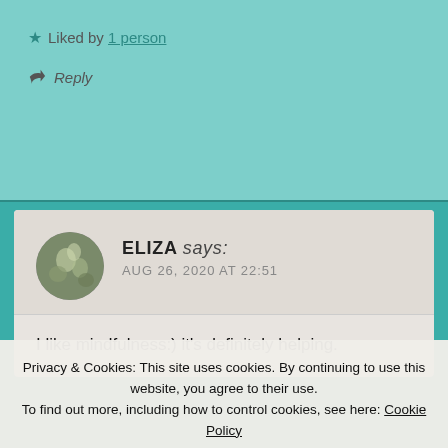★ Liked by 1 person
↩ Reply
ELIZA says: AUG 26, 2020 AT 22:51
I like mindfulness:) it's definitely helping.
Privacy & Cookies: This site uses cookies. By continuing to use this website, you agree to their use. To find out more, including how to control cookies, see here: Cookie Policy
Close and accept